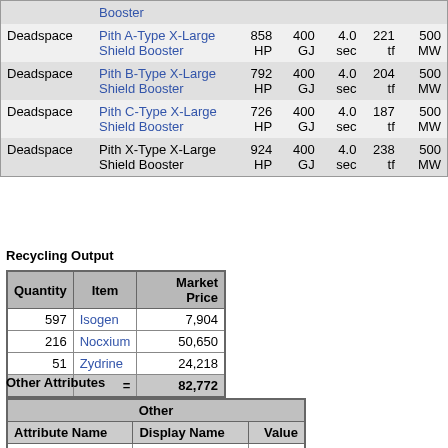|  | Name | HP | GJ | sec | tf | MW |
| --- | --- | --- | --- | --- | --- | --- |
| Deadspace | Pith A-Type X-Large Shield Booster | 858 HP | 400 GJ | 4.0 sec | 221 tf | 500 MW |
| Deadspace | Pith B-Type X-Large Shield Booster | 792 HP | 400 GJ | 4.0 sec | 204 tf | 500 MW |
| Deadspace | Pith C-Type X-Large Shield Booster | 726 HP | 400 GJ | 4.0 sec | 187 tf | 500 MW |
| Deadspace | Pith X-Type X-Large Shield Booster | 924 HP | 400 GJ | 4.0 sec | 238 tf | 500 MW |
Recycling Output
| Quantity | Item | Market Price |
| --- | --- | --- |
| 597 | Isogen | 7,904 |
| 216 | Nocxium | 50,650 |
| 51 | Zydrine | 24,218 |
|  | = | 82,772 |
Other Attributes
| Other |
| --- |
| Attribute Name | Display Name | Value |
| radius |  | 500 |